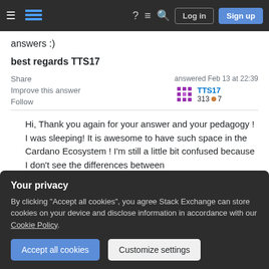Stack Exchange navigation bar with Log in and Sign up buttons
answers :)
best regards TTS17
Share
Improve this answer
Follow
answered Feb 13 at 22:39
TTS17
313 ●7
Hi, Thank you again for your answer and your pedagogy ! I was sleeping! It is awesome to have such space in the Cardano Ecosystem ! I'm still a little bit confused because I don't see the differences between
Your privacy
By clicking "Accept all cookies", you agree Stack Exchange can store cookies on your device and disclose information in accordance with our Cookie Policy.
Accept all cookies
Customize settings